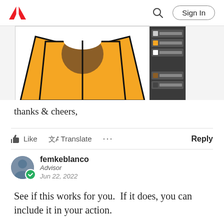Adobe — Sign In
[Figure (screenshot): Screenshot of Adobe Illustrator showing a yellow/orange long-sleeve shirt illustration with a brown collar circle, alongside the Layers panel on the right side with dark background]
thanks & cheers,
👍 Like  🈸 Translate  ···   Reply
femkeblanco
Advisor
Jun 22, 2022
See if this works for you.  If it does, you can include it in your action.
app.selection = null;
var items1 = app.activeDoc